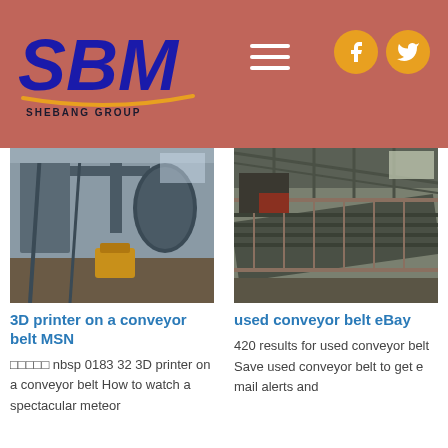[Figure (logo): SBM Shebang Group logo in blue and gold on a muted red/terracotta background, with hamburger menu icon and social media (Facebook, Twitter) icons]
[Figure (photo): Industrial machinery with large pipes, silos and conveyor equipment inside a factory]
3D printer on a conveyor belt MSN
□□□□□ nbsp 0183 32 3D printer on a conveyor belt How to watch a spectacular meteor
[Figure (photo): Conveyor belt system inside an industrial warehouse/shed]
used conveyor belt eBay
420 results for used conveyor belt Save used conveyor belt to get e mail alerts and